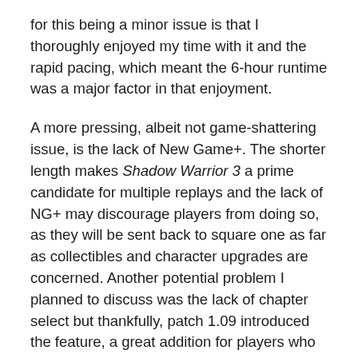for this being a minor issue is that I thoroughly enjoyed my time with it and the rapid pacing, which meant the 6-hour runtime was a major factor in that enjoyment.
A more pressing, albeit not game-shattering issue, is the lack of New Game+. The shorter length makes Shadow Warrior 3 a prime candidate for multiple replays and the lack of NG+ may discourage players from doing so, as they will be sent back to square one as far as collectibles and character upgrades are concerned. Another potential problem I planned to discuss was the lack of chapter select but thankfully, patch 1.09 introduced the feature, a great addition for players who missed a collectible or two and can now venture back into the relevant sections of the story to acquire them, without having to start a fresh